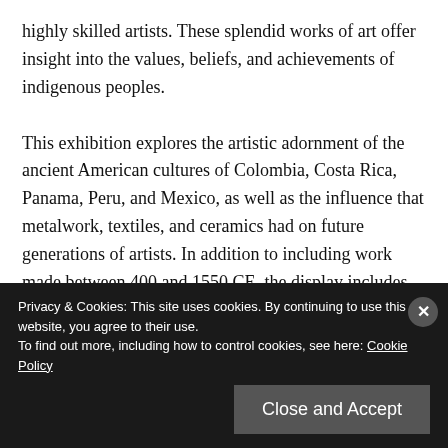highly skilled artists. These splendid works of art offer insight into the values, beliefs, and achievements of indigenous peoples.

This exhibition explores the artistic adornment of the ancient American cultures of Colombia, Costa Rica, Panama, Peru, and Mexico, as well as the influence that metalwork, textiles, and ceramics had on future generations of artists. In addition to including work made between 400 and 1550 CE, the display includes works by 20th century American designer and jewelry maker William Spratling (1900-1967), who spent over three decades in Mexico...
Privacy & Cookies: This site uses cookies. By continuing to use this website, you agree to their use. To find out more, including how to control cookies, see here: Cookie Policy